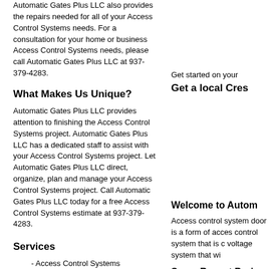Automatic Gates Plus LLC also provides the repairs needed for all of your Access Control Systems needs. For a consultation for your home or business Access Control Systems needs, please call Automatic Gates Plus LLC at 937-379-4283.
What Makes Us Unique?
Automatic Gates Plus LLC provides attention to finishing the Access Control Systems project. Automatic Gates Plus LLC has a dedicated staff to assist with your Access Control Systems project. Let Automatic Gates Plus LLC direct, organize, plan and manage your Access Control Systems project. Call Automatic Gates Plus LLC today for a free Access Control Systems estimate at 937-379-4283.
Get started on your
Get a local Cres
Services
- Access Control Systems
- Aluminum or Steel Fence - Install
- Aluminum or Steel Fence - Repair
- Barbed Wire Fence - Install
- Barbed Wire Fence - Repair
- Chain Link Fence - Install
- Chain Link Fence - Repair or Alter
- Ornamental Fence (Wrought Iron Fence) -
Welcome to Autom
Access control system door is a form of acces control system that is c voltage system that wi
Some Recent Proj
[Figure (photo): Brick wall photo with address text overlay reading '4347 Hammock Ave, Cestr, OH 45241']